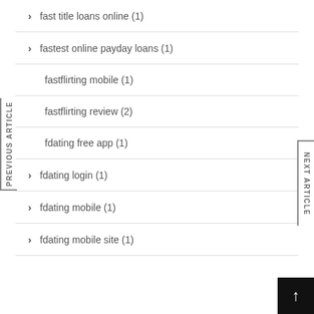fast title loans online (1)
fastest online payday loans (1)
fastflirting mobile (1)
fastflirting review (2)
fdating free app (1)
fdating login (1)
fdating mobile (1)
fdating mobile site (1)